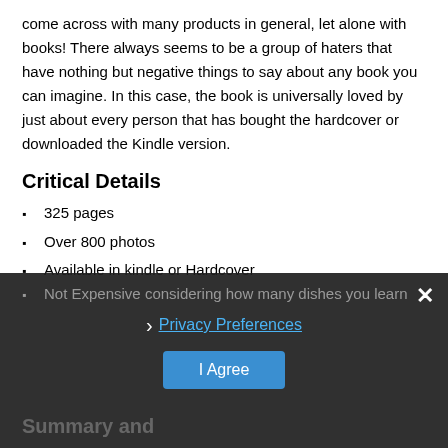come across with many products in general, let alone with books! There always seems to be a group of haters that have nothing but negative things to say about any book you can imagine. In this case, the book is universally loved by just about every person that has bought the hardcover or downloaded the Kindle version.
Critical Details
325 pages
Over 800 photos
Available in kindle or Hardcover
Not Expensive considering how many dishes you learn
Summary and